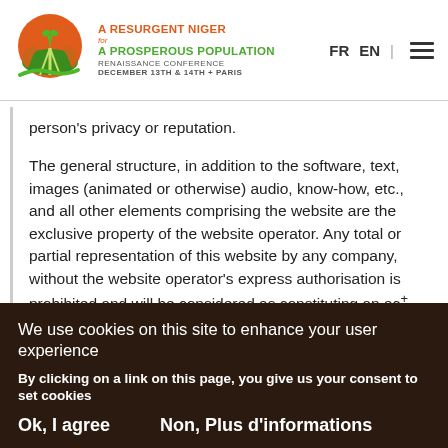[Figure (logo): A Resurgent Niger for a Prosperous Population Renaissance Conference logo — orange circle with hands and plant, green swoosh]
A RESURGENT NIGER FOR A PROSPEROUS POPULATION RENAISSANCE CONFERENCE DECEMBER 13th & 14th + PARIS | FR  EN
person's privacy or reputation.
The general structure, in addition to the software, text, images (animated or otherwise) audio, know-how, etc., and all other elements comprising the website are the exclusive property of the website operator. Any total or partial representation of this website by any company, without the website operator's express authorisation is prohibited and will be considered as constituting an ac
We use cookies on this site to enhance your user experience
By clicking on a link on this page, you give us your consent to set cookies
Ok, I agree    Non, Plus d'informations